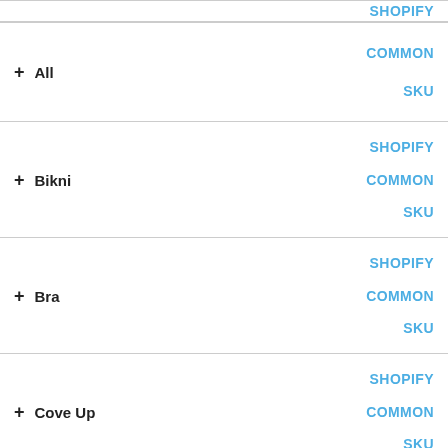SHOPIFY
+ All  SHOPIFY  COMMON  SKU
+ Bikni  SHOPIFY  COMMON  SKU
+ Bra  SHOPIFY  COMMON  SKU
+ Cove Up  SHOPIFY  COMMON  SKU
SHOPIFY